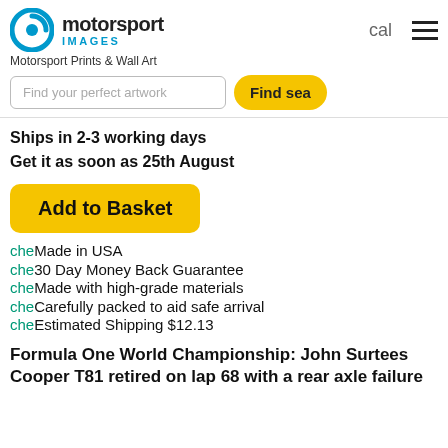[Figure (logo): Motorsport Images logo with blue circular icon and text 'motorsport IMAGES']
Motorsport Prints & Wall Art
Find your perfect artwork
Ships in 2-3 working days
Get it as soon as 25th August
Add to Basket
cheMade in USA
che30 Day Money Back Guarantee
cheMade with high-grade materials
cheCarefully packed to aid safe arrival
cheEstimated Shipping $12.13
Formula One World Championship: John Surtees Cooper T81 retired on lap 68 with a rear axle failure